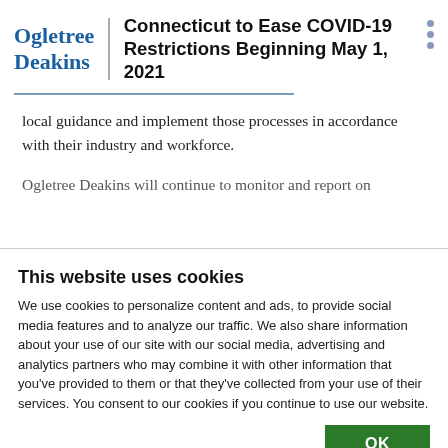Ogletree Deakins — Connecticut to Ease COVID-19 Restrictions Beginning May 1, 2021
local guidance and implement those processes in accordance with their industry and workforce.
Ogletree Deakins will continue to monitor and report on
This website uses cookies
We use cookies to personalize content and ads, to provide social media features and to analyze our traffic. We also share information about your use of our site with our social media, advertising and analytics partners who may combine it with other information that you've provided to them or that they've collected from your use of their services. You consent to our cookies if you continue to use our website.
OK
Necessary  Preferences  Statistics  Marketing  Show details